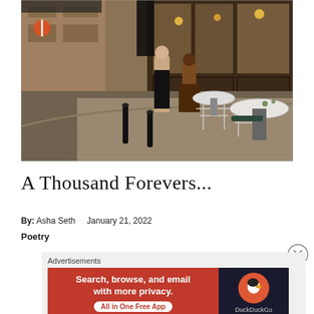[Figure (photo): Outdoor cafe scene on a cobblestone street. Two people standing and sitting near wire chairs and marble-top round tables outside a building with large glass windows. Urban European-style street setting with warm lighting.]
A Thousand Forevers...
By: Asha Seth   January 21, 2022
Poetry
Advertisements
[Figure (screenshot): DuckDuckGo advertisement banner. Left side has orange-red background with white bold text: 'Search, browse, and email with more privacy.' and a white pill-shaped button with red text 'All in One Free App'. Right side has dark background with the DuckDuckGo duck logo circle and 'DuckDuckGo' text below.]